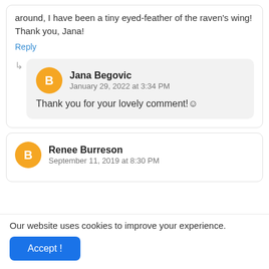around, I have been a tiny eyed-feather of the raven's wing! Thank you, Jana!
Reply
Jana Begovic
January 29, 2022 at 3:34 PM
Thank you for your lovely comment!☺
Renee Burreson
September 11, 2019 at 8:30 PM
Our website uses cookies to improve your experience.
Accept !